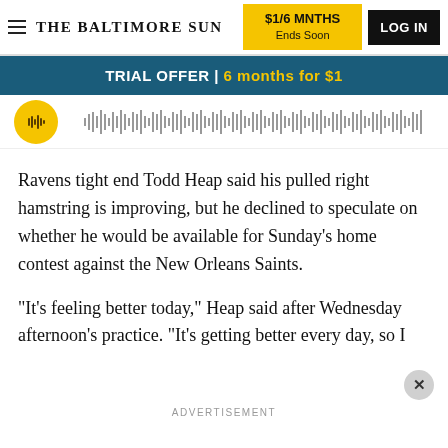THE BALTIMORE SUN | $1/6 MNTHS Ends Soon | LOG IN
TRIAL OFFER | 6 months for $1
[Figure (other): Audio podcast player with gold circular icon and waveform bar]
Ravens tight end Todd Heap said his pulled right hamstring is improving, but he declined to speculate on whether he would be available for Sunday's home contest against the New Orleans Saints.
"It's feeling better today," Heap said after Wednesday afternoon's practice. "It's getting better every day, so I
ADVERTISEMENT